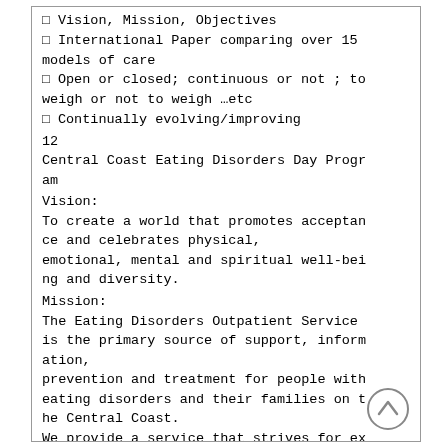□  Vision, Mission, Objectives
□  International Paper comparing over 15 models of care
□  Open or closed; continuous or not ; to weigh or not to weigh …etc
□  Continually evolving/improving
12
Central Coast Eating Disorders Day Program
Vision:
To create a world that promotes acceptance and celebrates physical, emotional, mental and spiritual well-being and diversity.
Mission:
The Eating Disorders Outpatient Service is the primary source of support, information, prevention and treatment for people with eating disorders and their families on the Central Coast.
We provide a service that strives for excellence of care in a safe, nurturing environment.